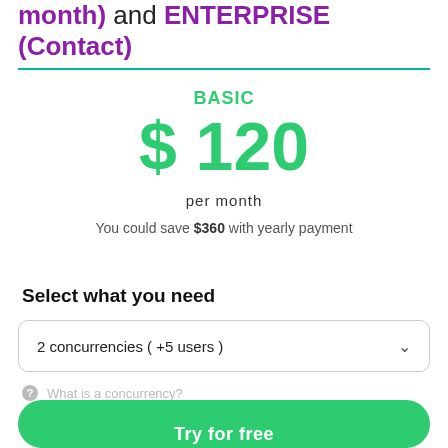month) and ENTERPRISE (Contact)
BASIC
$ 120
per month
You could save $360 with yearly payment
Select what you need
2 concurrencies ( +5 users )
What is a concurrency?
Try for free